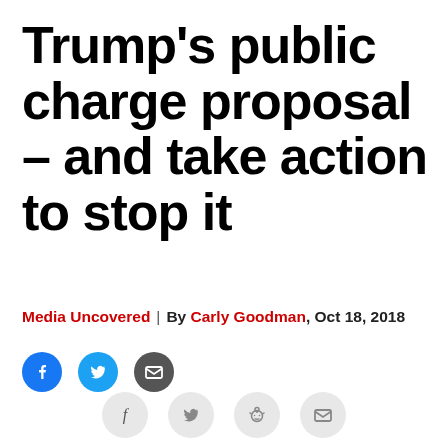Trump's public charge proposal – and take action to stop it
Media Uncovered | By Carly Goodman, Oct 18, 2018
[Figure (infographic): Social media sharing icons row (Facebook, Twitter, Email) in color circles at top, and a bottom row of four share buttons (f, twitter bird, reddit alien, envelope) in grey circles]